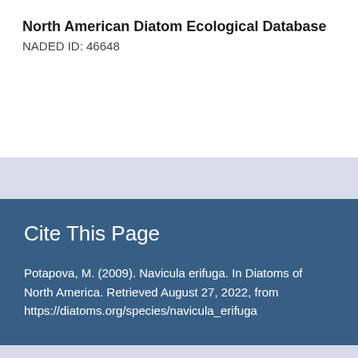North American Diatom Ecological Database
NADED ID: 46648
Cite This Page
Potapova, M. (2009). Navicula erifuga. In Diatoms of North America. Retrieved August 27, 2022, from https://diatoms.org/species/navicula_erifuga